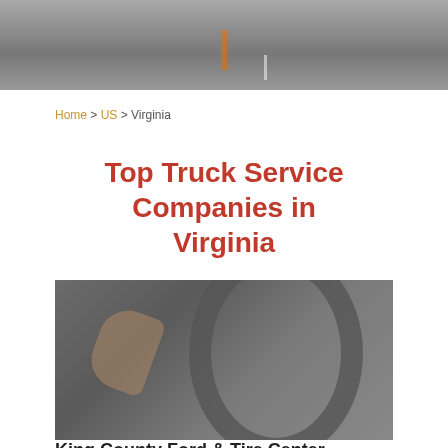[Figure (photo): Top banner photo showing a road/highway scene, dark tone]
Home > US > Virginia
Top Truck Service Companies in Virginia
[Figure (photo): Photo of a person working on a truck tire, inspecting with a tool, dark muted tones]
King County Ford & Tire Center